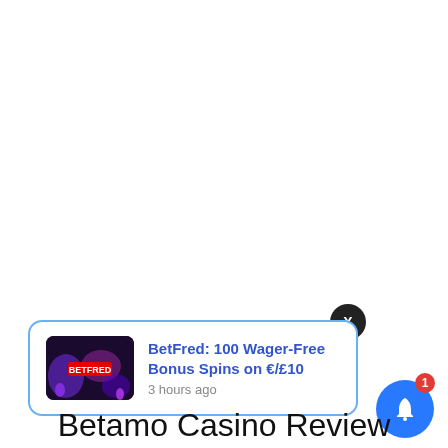[Figure (screenshot): Notification card popup: BetFred thumbnail image on left, title 'BetFred: 100 Wager-Free Bonus Spins on €/£10', timestamp '3 hours ago'. Blue border rounded card. X close button top right. Blue bell icon with red badge '1' bottom right.]
Betamo Casino Review